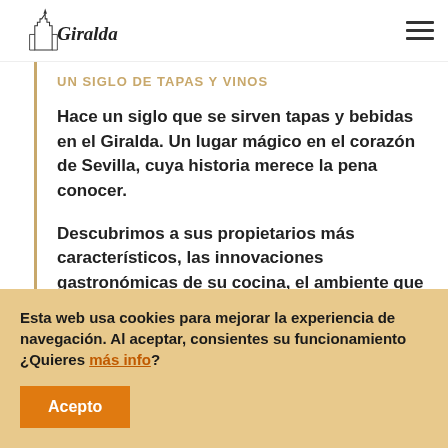GIRALDA
UN SIGLO DE TAPAS Y VINOS
Hace un siglo que se sirven tapas y bebidas en el Giralda. Un lugar mágico en el corazón de Sevilla, cuya historia merece la pena conocer.
Descubrimos a sus propietarios más característicos, las innovaciones gastronómicas de su cocina, el ambiente que
Esta web usa cookies para mejorar la experiencia de navegación. Al aceptar, consientes su funcionamiento ¿Quieres más info?